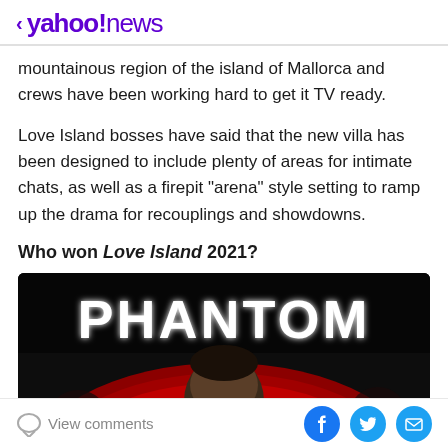< yahoo!news
mountainous region of the island of Mallorca and crews have been working hard to get it TV ready.
Love Island bosses have said that the new villa has been designed to include plenty of areas for intimate chats, as well as a firepit "arena" style setting to ramp up the drama for recouplings and showdowns.
Who won Love Island 2021?
[Figure (photo): A couple at a nightclub event with large illuminated PHANTOM letters in the background. A man's face is visible in the foreground, with a woman partially visible below him. The setting features red reflective surfaces and dramatic lighting.]
View comments